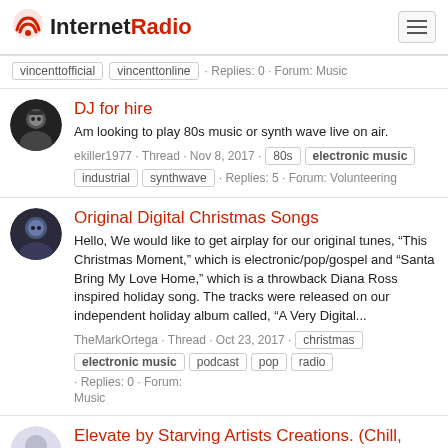InternetRadio
vincenttofficial · vincenttonline · Replies: 0 · Forum: Music
DJ for hire
Am looking to play 80s music or synth wave live on air.
ekiller1977 · Thread · Nov 8, 2017 · 80s · electronic music · industrial · synthwave · Replies: 5 · Forum: Volunteering
Original Digital Christmas Songs
Hello, We would like to get airplay for our original tunes, “This Christmas Moment,” which is electronic/pop/gospel and “Santa Bring My Love Home,” which is a throwback Diana Ross inspired holiday song. The tracks were released on our independent holiday album called, “A Very Digital...
TheMarkOrtega · Thread · Oct 23, 2017 · christmas · electronic music · podcast · pop · radio · Replies: 0 · Forum: Music
Elevate by Starving Artists Creations. (Chill,